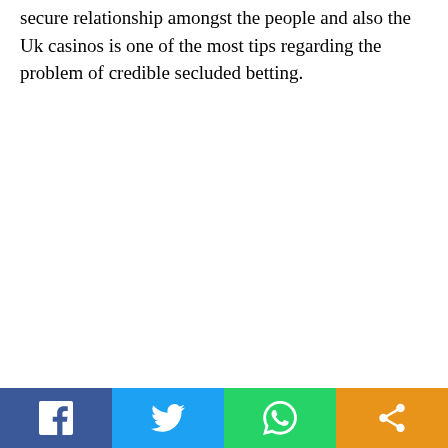secure relationship amongst the people and also the Uk casinos is one of the most tips regarding the problem of credible secluded betting.
[Figure (other): Social sharing bar with four buttons: Facebook (blue), Twitter (light blue), WhatsApp (green), Share/other (orange), each with white icon]